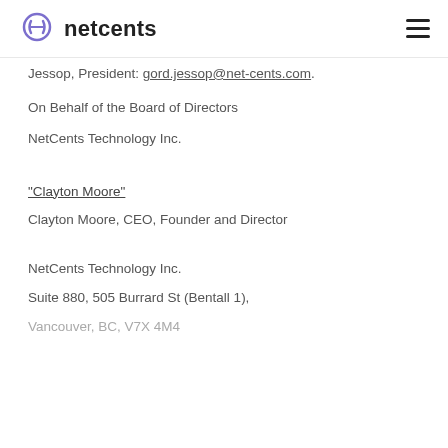netcents
Jessop, President: gord.jessop@net-cents.com.
On Behalf of the Board of Directors
NetCents Technology Inc.
"Clayton Moore"
Clayton Moore, CEO, Founder and Director
NetCents Technology Inc.
Suite 880, 505 Burrard St (Bentall 1),
Vancouver, BC, V7X 4M4